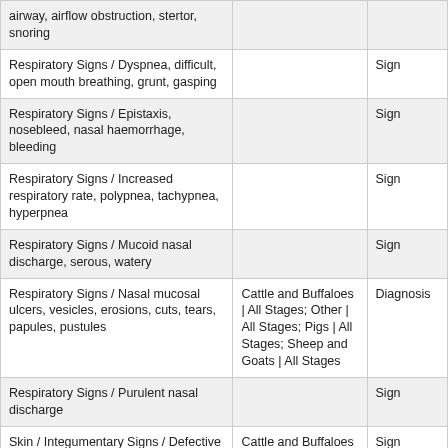| airway, airflow obstruction, stertor, snoring |  |  |
| Respiratory Signs / Dyspnea, difficult, open mouth breathing, grunt, gasping |  | Sign |
| Respiratory Signs / Epistaxis, nosebleed, nasal haemorrhage, bleeding |  | Sign |
| Respiratory Signs / Increased respiratory rate, polypnea, tachypnea, hyperpnea |  | Sign |
| Respiratory Signs / Mucoid nasal discharge, serous, watery |  | Sign |
| Respiratory Signs / Nasal mucosal ulcers, vesicles, erosions, cuts, tears, papules, pustules | Cattle and Buffaloes | All Stages; Other | All Stages; Pigs | All Stages; Sheep and Goats | All Stages | Diagnosis |
| Respiratory Signs / Purulent nasal discharge |  | Sign |
| Skin / Integumentary Signs / Defective growth of nail, claw, hoof | Cattle and Buffaloes | All Stages; Other | All Stages; Pigs | All Stages; Sheep and Goats | All | Sign |